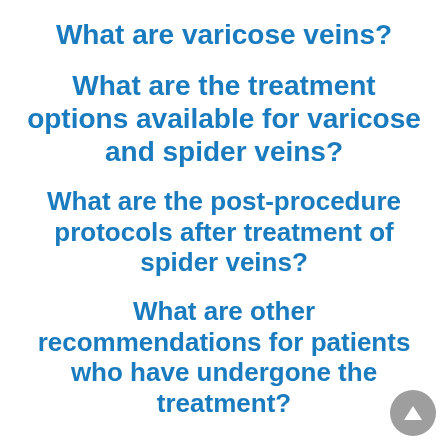What are varicose veins?
What are the treatment options available for varicose and spider veins?
What are the post-procedure protocols after treatment of spider veins?
What are other recommendations for patients who have undergone the treatment?